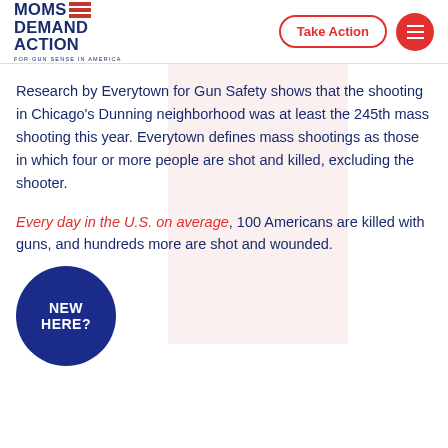MOMS DEMAND ACTION FOR GUN SENSE IN AMERICA
Research by Everytown for Gun Safety shows that the shooting in Chicago's Dunning neighborhood was at least the 245th mass shooting this year. Everytown defines mass shootings as those in which four or more people are shot and killed, excluding the shooter.
Every day in the U.S. on average, 100 Americans are killed with guns, and hundreds more are shot and wounded.
[Figure (logo): Blue circle with white text 'NEW HERE?' in bold uppercase]